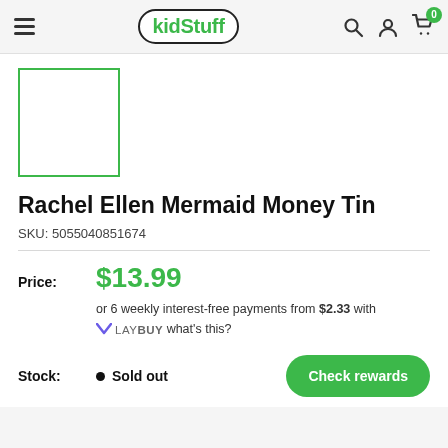kidStuff
[Figure (photo): Product thumbnail placeholder — white box with green border]
Rachel Ellen Mermaid Money Tin
SKU: 5055040851674
Price: $13.99
or 6 weekly interest-free payments from $2.33 with LAYBUY what's this?
Stock: • Sold out